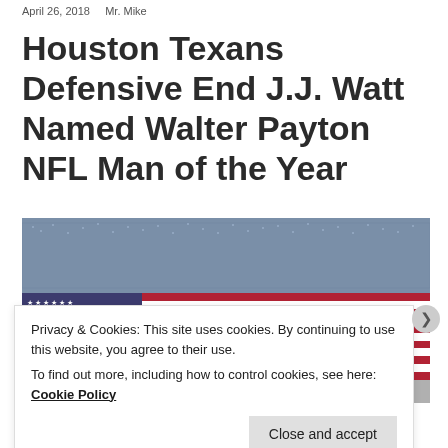April 26, 2018   Mr. Mike
Houston Texans Defensive End J.J. Watt Named Walter Payton NFL Man of the Year
[Figure (photo): A person sitting on a field looking toward a large American flag spread across the field, with a packed stadium crowd in the background.]
Privacy & Cookies: This site uses cookies. By continuing to use this website, you agree to their use.
To find out more, including how to control cookies, see here: Cookie Policy
Close and accept